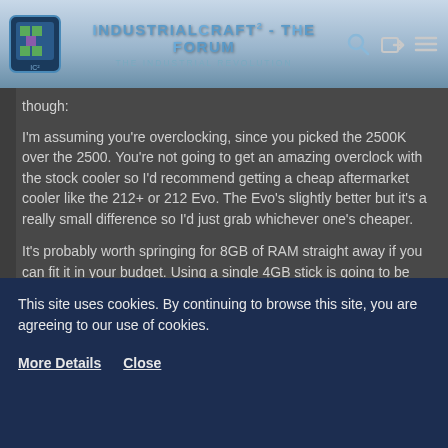IndustrialCraft² - The Forum · The Industrial Revolution
though:
I'm assuming you're overclocking, since you picked the 2500K over the 2500. You're not going to get an amazing overclock with the stock cooler so I'd recommend getting a cheap aftermarket cooler like the 212+ or 212 Evo. The Evo's slightly better but it's a really small difference so I'd just grab whichever one's cheaper.
It's probably worth springing for 8GB of RAM straight away if you can fit it in your budget. Using a single 4GB stick is going to be slower because you need 2+ sticks to run in dual channel mode. Also, depending on what other stuff you have going on, running a Minecraft server plus the client might take you over 4GB. Testing just now,
This site uses cookies. By continuing to browse this site, you are agreeing to our use of cookies.
More Details    Close